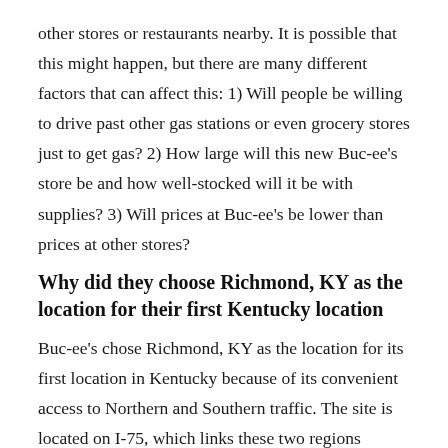other stores or restaurants nearby. It is possible that this might happen, but there are many different factors that can affect this: 1) Will people be willing to drive past other gas stations or even grocery stores just to get gas? 2) How large will this new Buc-ee's store be and how well-stocked will it be with supplies? 3) Will prices at Buc-ee's be lower than prices at other stores?
Why did they choose Richmond, KY as the location for their first Kentucky location
Buc-ee's chose Richmond, KY as the location for its first location in Kentucky because of its convenient access to Northern and Southern traffic. The site is located on I-75, which links these two regions together.